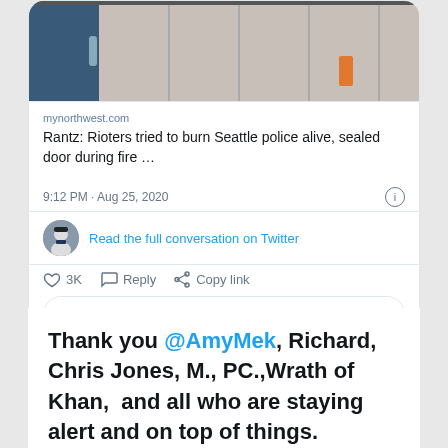[Figure (screenshot): Twitter tweet card showing a news link preview with a photo of a sealed/burned door. Link from mynorthwest.com titled 'Rantz: Rioters tried to burn Seattle police alive, sealed door during fire …'. Tweet timestamp: 9:12 PM · Aug 25, 2020. 'Read the full conversation on Twitter' link with avatar. Actions: heart 3K, Reply, Copy link. Read 343 replies button.]
Thank you @AmyMek, Richard, Chris Jones, M., PC.,Wrath of Khan,  and all who are staying alert and on top of things.